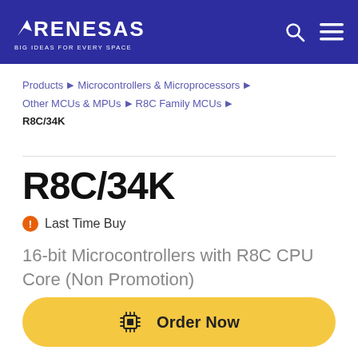RENESAS — BIG IDEAS FOR EVERY SPACE
Products › Microcontrollers & Microprocessors › Other MCUs & MPUs › R8C Family MCUs › R8C/34K
R8C/34K
Last Time Buy
16-bit Microcontrollers with R8C CPU Core (Non Promotion)
Order Now